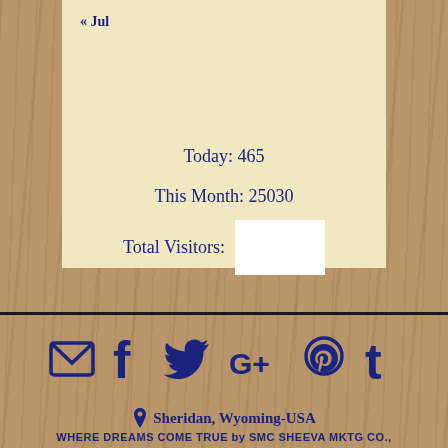« Jul
Today: 465
This Month: 25030
Total Visitors:
[Figure (infographic): Social media icons row: email/envelope, Facebook, Twitter, Google+, Pinterest, Tumblr — all in dark navy blue on wood-grain background]
Sheridan, Wyoming-USA
WHERE DREAMS COME TRUE by SMC SHEEVA MKTG CO., LTD